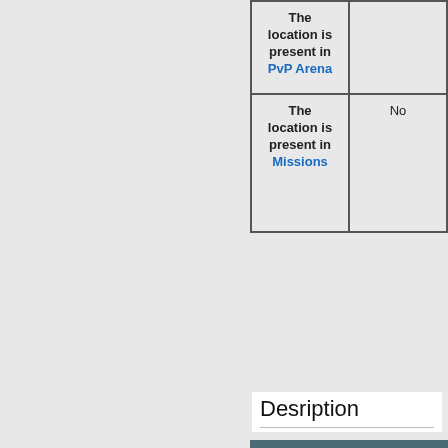| Description | Value |
| --- | --- |
| The location is present in PvP Arena |  |
| The location is present in Missions | No |
Desription
[Figure (photo): A fantasy/sci-fi landscape showing floating rocky asteroids or boulders in a blue-grey sky, with a path and archway visible at the bottom of the image.]